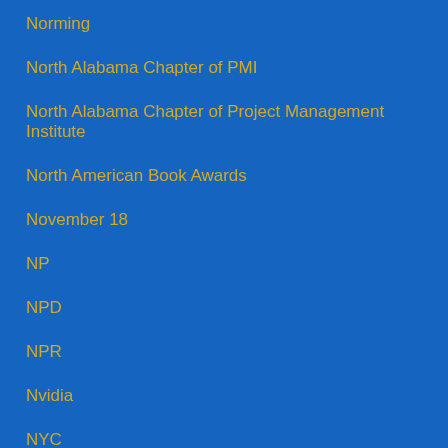Norming
North Alabama Chapter of PMI
North Alabama Chapter of Project Management Institute
North American Book Awards
November 18
NP
NPD
NPR
Nvidia
NYC